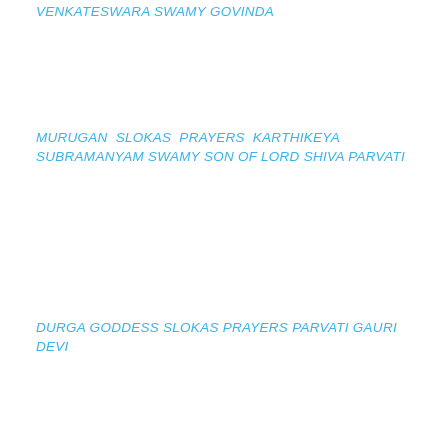VENKATESWARA SWAMY GOVINDA
MURUGAN SLOKAS PRAYERS KARTHIKEYA SUBRAMANYAM SWAMY SON OF LORD SHIVA PARVATI
DURGA GODDESS SLOKAS PRAYERS PARVATI GAURI DEVI